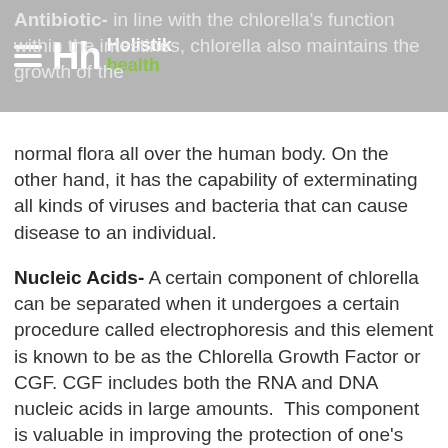Antibiotic- in line with the chlorella's function within the intestines, chlorella also maintains the growth of the normal flora all over the human body. On the other hand, it has the capability of exterminating all kinds of viruses and bacteria that can cause disease to an individual.
Nucleic Acids- A certain component of chlorella can be separated when it undergoes a certain procedure called electrophoresis and this element is known to be as the Chlorella Growth Factor or CGF. CGF includes both the RNA and DNA nucleic acids in large amounts. This component is valuable in improving the protection of one's body from infection and it also reduces the speed of aging.
Chlorella Growth Factor- The skin becomes taut as tissue repair is hastened by the Chlorella Growth Factor. In addition, many of another component also...